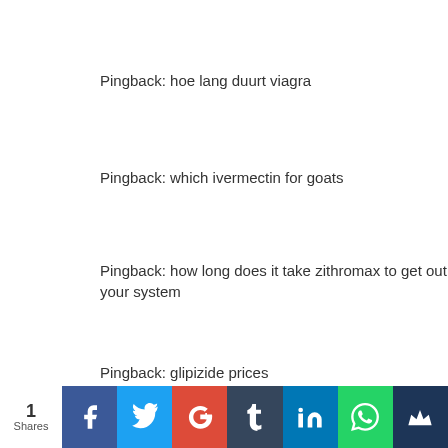Pingback: hoe lang duurt viagra
Pingback: which ivermectin for goats
Pingback: how long does it take zithromax to get out of your system
Pingback: glipizide prices
Pingback: buy hydrochlorothiazide 5 mg
1 Shares | Facebook | Twitter | Google+ | Tumblr | LinkedIn | WhatsApp | SumoMe